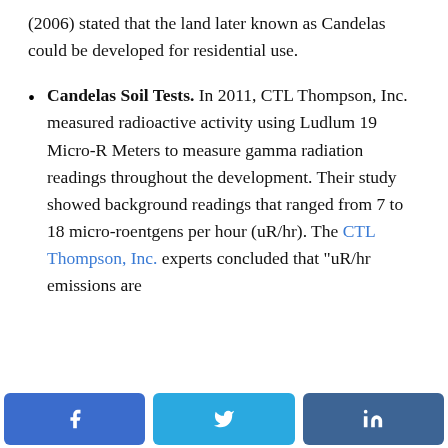(2006) stated that the land later known as Candelas could be developed for residential use.
Candelas Soil Tests. In 2011, CTL Thompson, Inc. measured radioactive activity using Ludlum 19 Micro-R Meters to measure gamma radiation readings throughout the development. Their study showed background readings that ranged from 7 to 18 micro-roentgens per hour (uR/hr). The CTL Thompson, Inc. experts concluded that "uR/hr emissions are